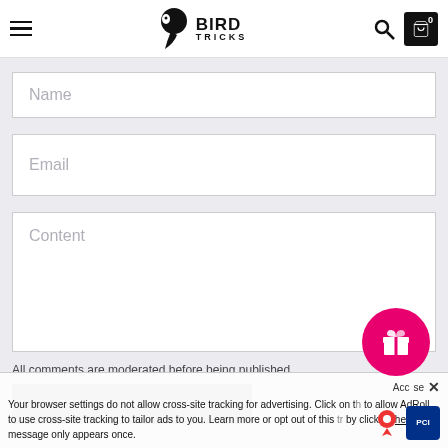Bird Tricks — navigation header with logo, search, and cart
Name
Email
Content
All comments are moderated before being published
LEAVE YOUR COMMENT
Your browser settings do not allow cross-site tracking for advertising. Click on the link to allow AdRoll to use cross-site tracking to tailor ads to you. Learn more or opt out of this AdRoll tracking by clicking here. This message only appears once.